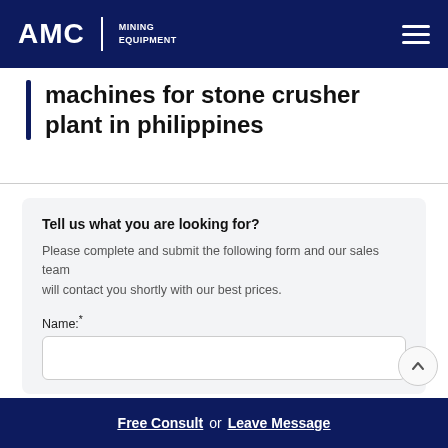AMC MINING EQUIPMENT
machines for stone crusher plant in philippines
Tell us what you are looking for?
Please complete and submit the following form and our sales team will contact you shortly with our best prices.
Name:*
Email:*
Free Consult  or  Leave Message